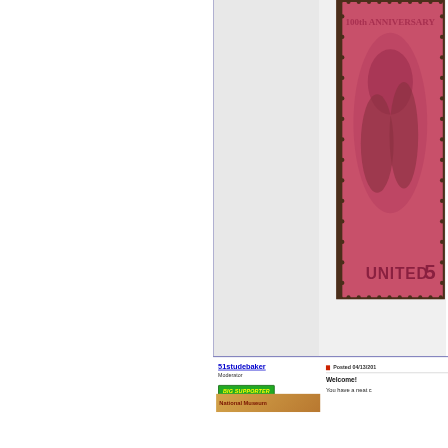[Figure (photo): Close-up photograph of a United States postage stamp showing an anniversary commemorative design in red/pink color, with perforated edges. Text 'UNITED' visible at bottom, '100th ANNIVERSARY' at top.]
51studebaker
Moderator
BIG SUPPORTER
National Museum
Posted 04/13/201
Welcome!
You have a neat c